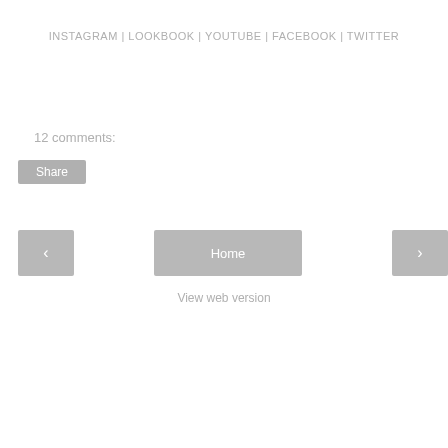INSTAGRAM | LOOKBOOK | YOUTUBE | FACEBOOK | TWITTER
12 comments:
Share
< Home >
View web version